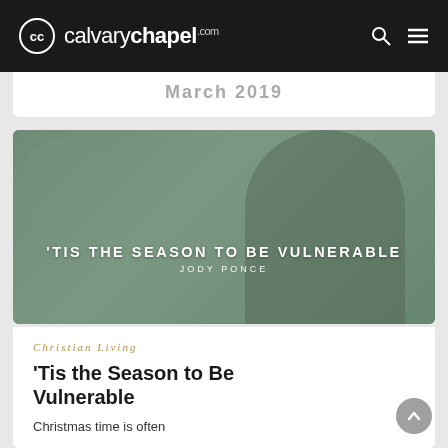calvarychapel.com
[Figure (photo): Hero image with muted green-tinted photograph of a person, overlaid with white text reading ''TIS THE SEASON TO BE VULNERABLE' and byline 'JODY PONCE']
Christian Living
'Tis the Season to Be Vulnerable
Christmas time is often